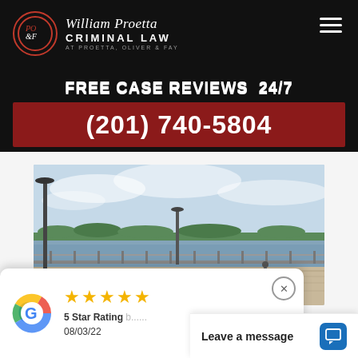[Figure (logo): William Proetta Criminal Law logo with PO&F emblem circle and text 'William Proetta CRIMINAL LAW AT PROETTA, OLIVER & FAY']
FREE CASE REVIEWS  24/7
(201) 740-5804
[Figure (photo): Outdoor waterfront boardwalk scene with a lamp post, benches, railing, and a river with green treeline in the background under a partly cloudy sky]
[Figure (other): Google review card showing 5 gold stars, '5 Star Rating' and date '08/03/22', with Google 'G' logo]
Leave a message